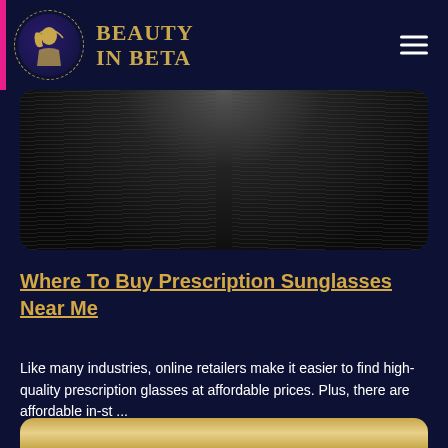BEAUTY IN BETA
[Figure (photo): Dark, moody close-up of a person with dark hair, partially obscured face, dark background]
Where To Buy Prescription Sunglasses Near Me
Like many industries, online retailers make it easier to find high-quality prescription glasses at affordable prices. Plus, there are affordable in-st ...
[Figure (photo): Partial view of what appears to be a golden/straw hat, bottom of page preview]